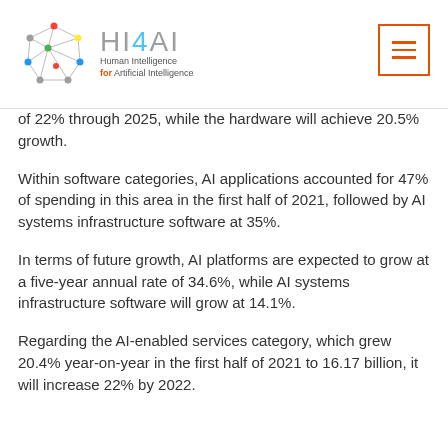HI4AI – Human Intelligence for Artificial Intelligence
of 22% through 2025, while the hardware will achieve 20.5% growth.
Within software categories, AI applications accounted for 47% of spending in this area in the first half of 2021, followed by AI systems infrastructure software at 35%.
In terms of future growth, AI platforms are expected to grow at a five-year annual rate of 34.6%, while AI systems infrastructure software will grow at 14.1%.
Regarding the AI-enabled services category, which grew 20.4% year-on-year in the first half of 2021 to 16.17 billion, it will increase 22% by 2022.